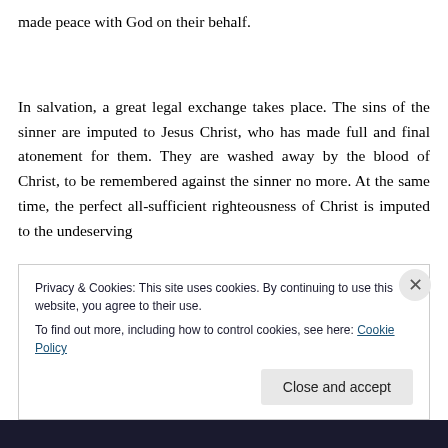made peace with God on their behalf.
In salvation, a great legal exchange takes place. The sins of the sinner are imputed to Jesus Christ, who has made full and final atonement for them. They are washed away by the blood of Christ, to be remembered against the sinner no more. At the same time, the perfect all-sufficient righteousness of Christ is imputed to the undeserving
Privacy & Cookies: This site uses cookies. By continuing to use this website, you agree to their use.
To find out more, including how to control cookies, see here: Cookie Policy
Close and accept